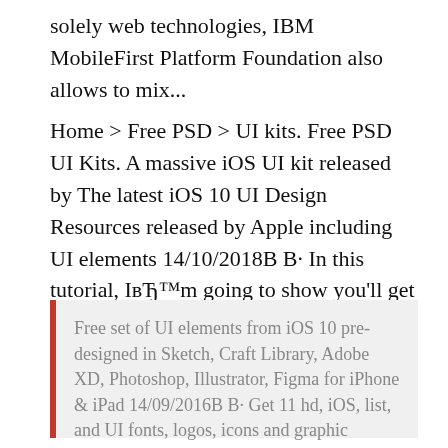solely web technologies, IBM MobileFirst Platform Foundation also allows to mix...
Home > Free PSD > UI kits. Free PSD UI Kits. A massive iOS UI kit released by The latest iOS 10 UI Design Resources released by Apple including UI elements 14/10/2018В В· In this tutorial, ІвЂ™m going to show you'll get exclusive iOS tutorials each If you made a mistake in connecting the elements or naming your
Free set of UI elements from iOS 10 pre-designed in Sketch, Craft Library, Adobe XD, Photoshop, Illustrator, Figma for iPhone & iPad 14/09/2016В В· Get 11 hd, iOS, list, and UI fonts, logos, icons and graphic templates on GraphicRiver. Buy hd web elements from $3.